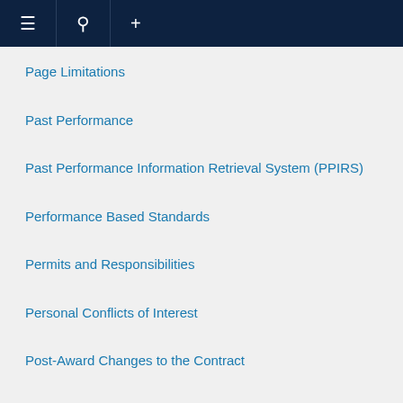≡  🔍  +
Page Limitations
Past Performance
Past Performance Information Retrieval System (PPIRS)
Performance Based Standards
Permits and Responsibilities
Personal Conflicts of Interest
Post-Award Changes to the Contract
Post-Protest Re-Evaluations